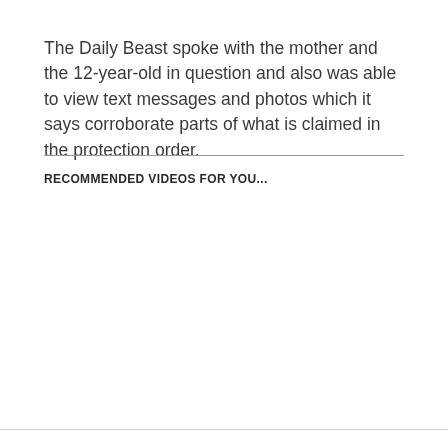The Daily Beast spoke with the mother and the 12-year-old in question and also was able to view text messages and photos which it says corroborate parts of what is claimed in the protection order.
RECOMMENDED VIDEOS FOR YOU...